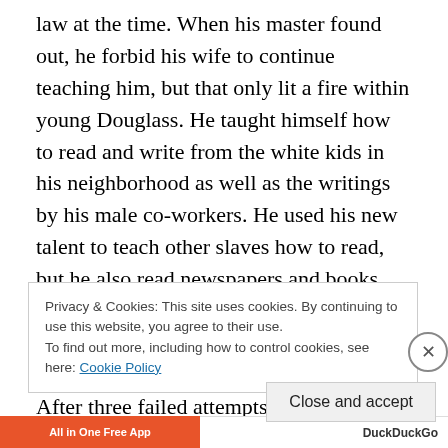law at the time. When his master found out, he forbid his wife to continue teaching him, but that only lit a fire within young Douglass. He taught himself how to read and write from the white kids in his neighborhood as well as the writings by his male co-workers. He used his new talent to teach other slaves how to read, but he also read newspapers and books about slavery, thus igniting his passion to end slavery.

After three failed attempts to escape from his plantation, Douglass finally left Maryland disguised as a free black
Privacy & Cookies: This site uses cookies. By continuing to use this website, you agree to their use.
To find out more, including how to control cookies, see here: Cookie Policy
Close and accept
All in One Free App   DuckDuckGo